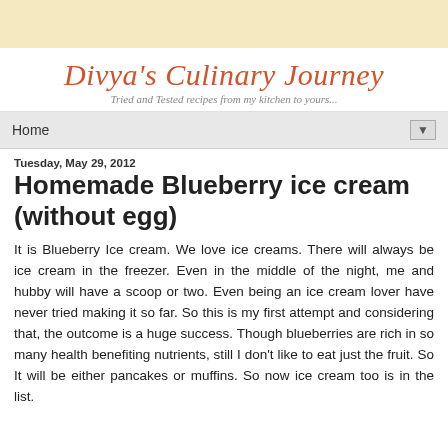[Figure (other): Pale yellow/cream decorative header banner background]
Divya's Culinary Journey
Tried and Tested recipes from my kitchen to yours...
Home ▼
Tuesday, May 29, 2012
Homemade Blueberry ice cream (without egg)
It is Blueberry Ice cream. We love ice creams. There will always be ice cream in the freezer. Even in the middle of the night, me and hubby will have a scoop or two. Even being an ice cream lover have never tried making it so far. So this is my first attempt and considering that, the outcome is a huge success. Though blueberries are rich in so many health benefiting nutrients, still I don't like to eat just the fruit. So It will be either pancakes or muffins. So now ice cream too is in the list.